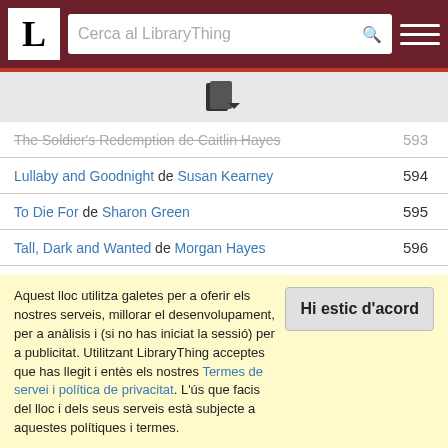[Figure (screenshot): LibraryThing website header with logo, search bar, and hamburger menu on dark red background]
[Figure (other): Small book/document icon]
| Book | Number |
| --- | --- |
| The Soldier's Redemption de Caitlin Hayes (struck through) | 593 |
| Lullaby and Goodnight de Susan Kearney | 594 |
| To Die For de Sharon Green | 595 |
| Tall, Dark and Wanted de Morgan Hayes | 596 |
| The Bodyguard's Baby de Debra Webb | 597 |
| Royal Protector de Laura Gordon | 598 |
| Woman Most Wanted de Harper Allen | 599 |
| Alyssa Again de Sylvie Kurtz | 600 |
Aquest lloc utilitza galetes per a oferir els nostres serveis, millorar el desenvolupament, per a anàlisis i (si no has iniciat la sessió) per a publicitat. Utilitzant LibraryThing acceptes que has llegit i entès els nostres Termes de servei i política de privacitat. L'ús que facis del lloc i dels seus serveis està subjecte a aquestes polítiques i termes.